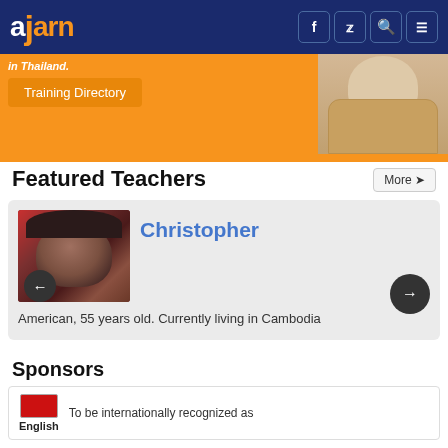ajarn
[Figure (photo): Orange promotional banner with Training Directory button and woman in beige suit on right]
Featured Teachers
[Figure (photo): Photo of Christopher, a teacher profile card showing a man's face with navigation arrows]
Christopher
American, 55 years old. Currently living in Cambodia
Sponsors
[Figure (logo): English language school logo with flag]
To be internationally recognized as